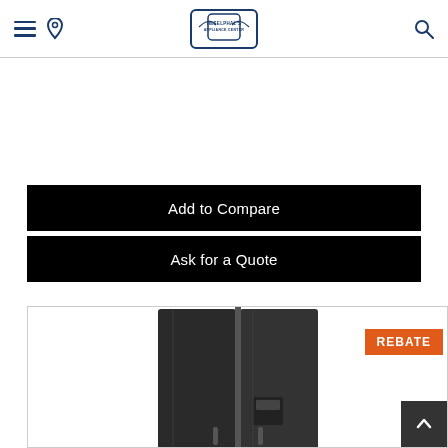Navigation bar with hamburger menu, location pin, appliance center logo, and search icon
Add to Compare
Ask for a Quote
[Figure (photo): Side-by-side black refrigerator product photo with a REBATE badge in orange]
REBATE